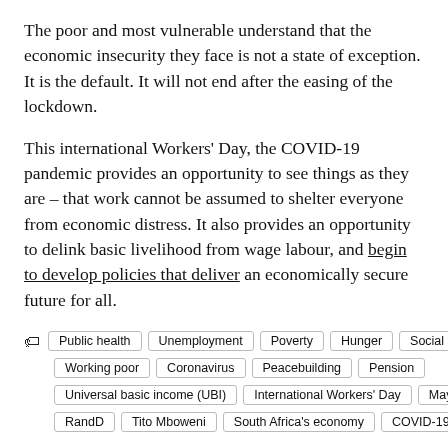The poor and most vulnerable understand that the economic insecurity they face is not a state of exception. It is the default. It will not end after the easing of the lockdown.
This international Workers' Day, the COVID-19 pandemic provides an opportunity to see things as they are – that work cannot be assumed to shelter everyone from economic distress. It also provides an opportunity to delink basic livelihood from wage labour, and begin to develop policies that deliver an economically secure future for all.
Public health  Unemployment  Poverty  Hunger  Social security  Working poor  Coronavirus  Peacebuilding  Pension  Universal basic income (UBI)  International Workers' Day  May Day  RandD  Tito Mboweni  South Africa's economy  COVID-19